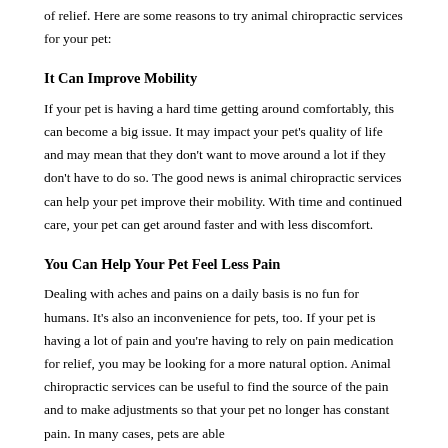of relief. Here are some reasons to try animal chiropractic services for your pet:
It Can Improve Mobility
If your pet is having a hard time getting around comfortably, this can become a big issue. It may impact your pet's quality of life and may mean that they don't want to move around a lot if they don't have to do so. The good news is animal chiropractic services can help your pet improve their mobility. With time and continued care, your pet can get around faster and with less discomfort.
You Can Help Your Pet Feel Less Pain
Dealing with aches and pains on a daily basis is no fun for humans. It's also an inconvenience for pets, too. If your pet is having a lot of pain and you're having to rely on pain medication for relief, you may be looking for a more natural option. Animal chiropractic services can be useful to find the source of the pain and to make adjustments so that your pet no longer has constant pain. In many cases, pets are able